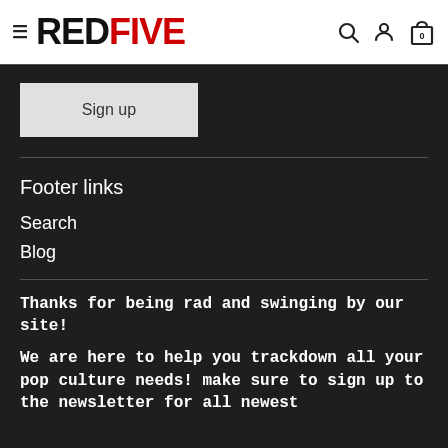RED FIVE — navigation header with hamburger menu, logo, search, user, and cart icons
Sign up
Footer links
Search
Blog
Thanks for being rad and swinging by our site!
We are here to help you trackdown all your pop culture needs! make sure to sign up to the newsletter for all newest